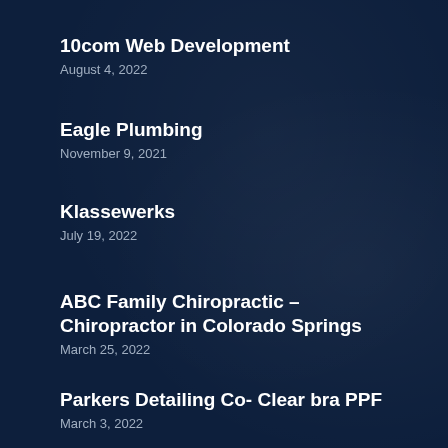10com Web Development
August 4, 2022
Eagle Plumbing
November 9, 2021
Klassewerks
July 19, 2022
ABC Family Chiropractic – Chiropractor in Colorado Springs
March 25, 2022
Parkers Detailing Co- Clear bra PPF
March 3, 2022